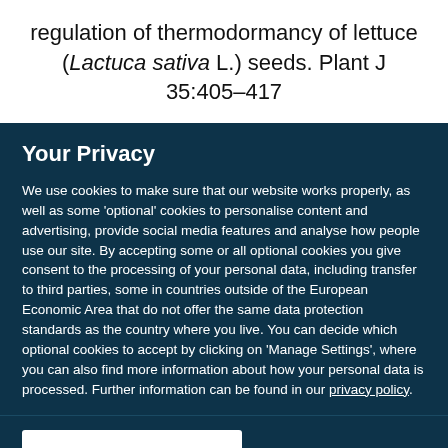regulation of thermodormancy of lettuce (Lactuca sativa L.) seeds. Plant J 35:405–417
Your Privacy
We use cookies to make sure that our website works properly, as well as some 'optional' cookies to personalise content and advertising, provide social media features and analyse how people use our site. By accepting some or all optional cookies you give consent to the processing of your personal data, including transfer to third parties, some in countries outside of the European Economic Area that do not offer the same data protection standards as the country where you live. You can decide which optional cookies to accept by clicking on 'Manage Settings', where you can also find more information about how your personal data is processed. Further information can be found in our privacy policy.